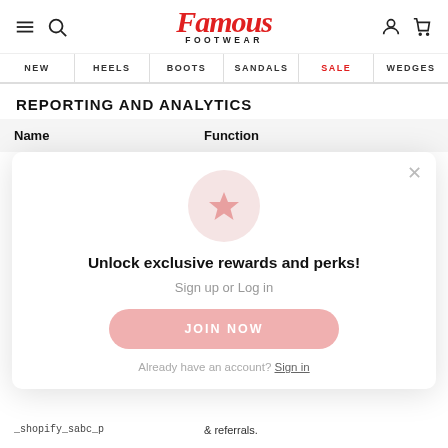[Figure (screenshot): Famous Footwear website header with hamburger menu, search icon, logo, user icon, and cart icon]
NEW | HEELS | BOOTS | SANDALS | SALE | WEDGES
REPORTING AND ANALYTICS
| Name | Function |
| --- | --- |
[Figure (screenshot): Modal popup with star icon, 'Unlock exclusive rewards and perks!' heading, 'Sign up or Log in' subtext, 'JOIN NOW' button, and 'Already have an account? Sign in' link]
& referrals.